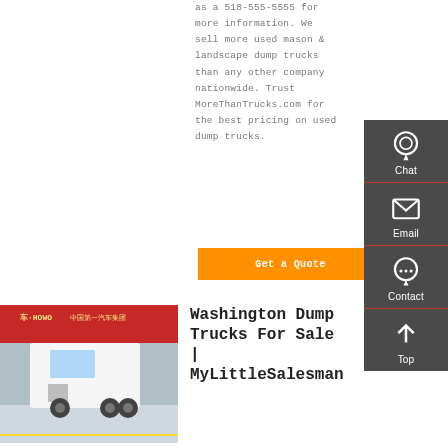as a 518-555-5555 for more information. We sell more used mason & landscape dump trucks than any other company nationwide. Trust MoreThanTrucks.com for the best pricing on used dump trucks.
Get a Quote
[Figure (screenshot): Sidebar widget with Chat, Email, Contact, and Top navigation icons on a dark grey background]
[Figure (photo): A white HOWO truck parked in front of a red storefront with Chinese signage]
Washington Dump Trucks For Sale | MyLittleSalesman